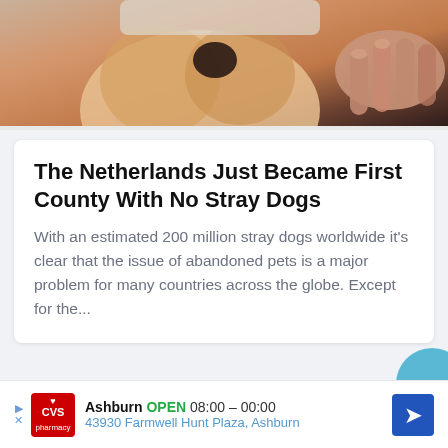[Figure (photo): Close-up photo of a corgi dog being petted, with a hand visible stroking the dog's fur. Warm brown and tan tones.]
The Netherlands Just Became First County With No Stray Dogs
With an estimated 200 million stray dogs worldwide it's clear that the issue of abandoned pets is a major problem for many countries across the globe. Except for the...
[Figure (other): Next/forward navigation button — a circular teal/blue button with a right-pointing chevron arrow, partially visible on the right edge of the screen.]
Ashburn OPEN 08:00 – 00:00 43930 Farmwell Hunt Plaza, Ashburn